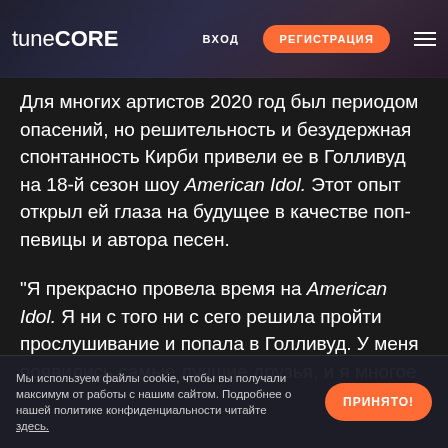tuneCORE  ВХОД  РЕГИСТРАЦИЯ
Для многих артистов 2020 год был периодом опасений, но решительность и безудержная спонтанность Кирби привели ее в Голливуд на 18-й сезон шоу American Idol. Этот опыт открыл ей глаза на будущее в качестве поп-певицы и автора песен.
"Я прекрасно провела время на American Idol. Я ни с того ни с сего решила пройти прослушивание и попала в Голливуд. У меня появились самые лучшие друзья, и я многое
Мы используем файлы cookie, чтобы вы получали максимум от работы с нашим сайтом. Подробнее о нашей политике конфиденциальности читайте здесь.  ПРИНЯТО!